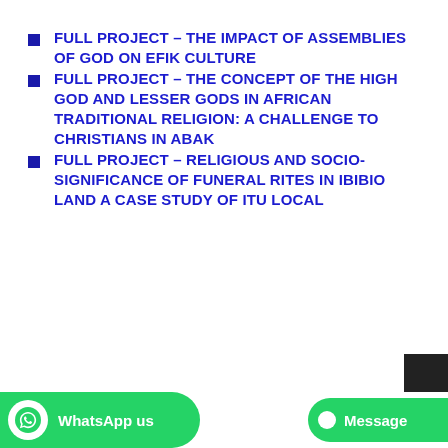FULL PROJECT – THE IMPACT OF ASSEMBLIES OF GOD ON EFIK CULTURE
FULL PROJECT – THE CONCEPT OF THE HIGH GOD AND LESSER GODS IN AFRICAN TRADITIONAL RELIGION: A CHALLENGE TO CHRISTIANS IN ABAK
FULL PROJECT – RELIGIOUS AND SOCIO-SIGNIFICANCE OF FUNERAL RITES IN IBIBIO LAND A CASE STUDY OF ITU LOCAL